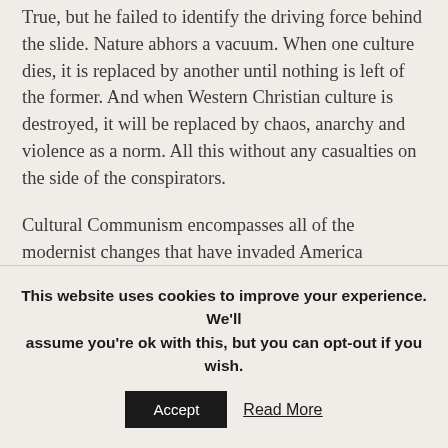True, but he failed to identify the driving force behind the slide. Nature abhors a vacuum. When one culture dies, it is replaced by another until nothing is left of the former. And when Western Christian culture is destroyed, it will be replaced by chaos, anarchy and violence as a norm. All this without any casualties on the side of the conspirators.
Cultural Communism encompasses all of the modernist changes that have invaded America including—but not limited to—multiculturalism, feminism, racial and gender quotas, school busing based on race and so forth.
This website uses cookies to improve your experience. We'll assume you're ok with this, but you can opt-out if you wish.
Accept  Read More